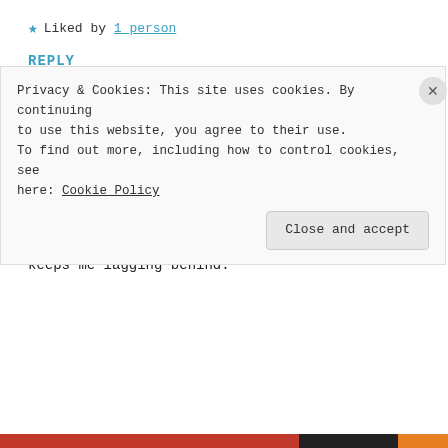★ Liked by 1 person
REPLY
Paola Fredericks says: October 28, 2017 at 5:03 am
Love it!
I'm in the same predicament. I want to share my knowledge, but the pursuit of perfection keeps me lagging behind.
Privacy & Cookies: This site uses cookies. By continuing to use this website, you agree to their use. To find out more, including how to control cookies, see here: Cookie Policy
Close and accept